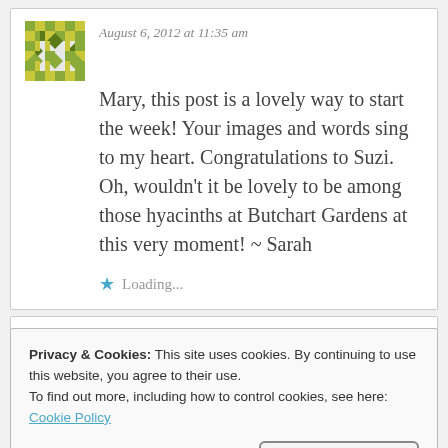August 6, 2012 at 11:35 am
Mary, this post is a lovely way to start the week! Your images and words sing to my heart. Congratulations to Suzi. Oh, wouldn't it be lovely to be among those hyacinths at Butchart Gardens at this very moment! ~ Sarah
Loading...
Privacy & Cookies: This site uses cookies. By continuing to use this website, you agree to their use.
To find out more, including how to control cookies, see here:
Cookie Policy
Close and accept